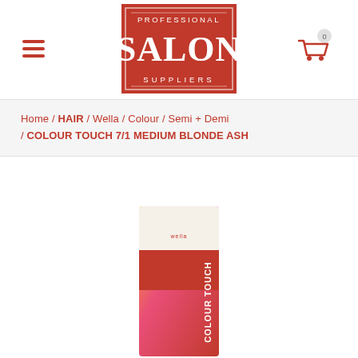[Figure (logo): Professional Salon Suppliers logo — red box with white text reading PROFESSIONAL SALON SUPPLIERS]
[Figure (infographic): Hamburger menu icon (three red horizontal lines) on the left, and a shopping cart icon with badge '0' on the right]
Home / HAIR / Wella / Colour / Semi + Demi / COLOUR TOUCH 7/1 MEDIUM BLONDE ASH
[Figure (photo): Wella Colour Touch 7/1 Medium Blonde Ash product tube, partially visible at the bottom of the page, with a colourful gradient background on the packaging]